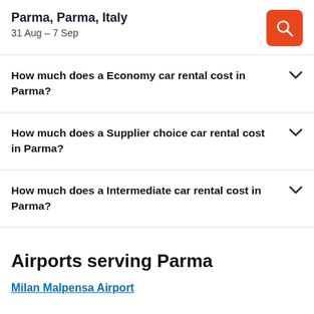Parma, Parma, Italy
31 Aug – 7 Sep
How much does a Economy car rental cost in Parma?
How much does a Supplier choice car rental cost in Parma?
How much does a Intermediate car rental cost in Parma?
Airports serving Parma
Milan Malpensa Airport